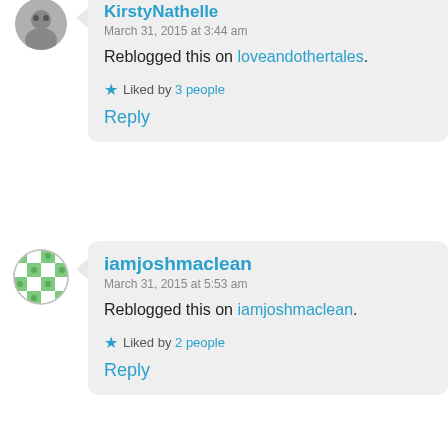KirstyNathelle
March 31, 2015 at 3:44 am
Reblogged this on loveandothertales.
Liked by 3 people
Reply
iamjoshmaclean
March 31, 2015 at 5:53 am
Reblogged this on iamjoshmaclean.
Liked by 2 people
Reply